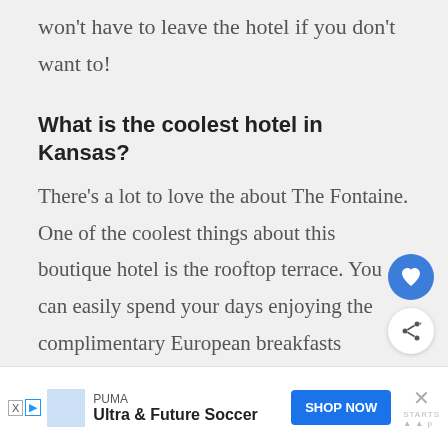won't have to leave the hotel if you don't want to!
What is the coolest hotel in Kansas?
There's a lot to love the about The Fontaine. One of the coolest things about this boutique hotel is the rooftop terrace. You can easily spend your days enjoying the complimentary European breakfasts